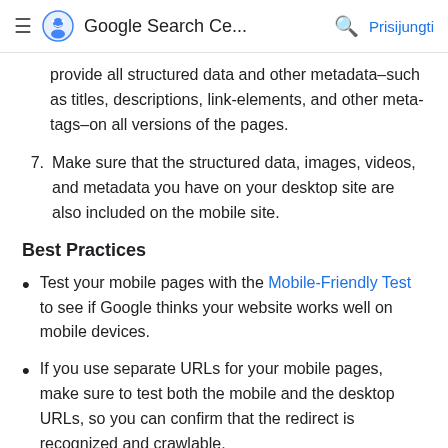≡ Google Search Ce... 🔍 Prisijungti
provide all structured data and other metadata–such as titles, descriptions, link-elements, and other meta-tags–on all versions of the pages.
7. Make sure that the structured data, images, videos, and metadata you have on your desktop site are also included on the mobile site.
Best Practices
Test your mobile pages with the Mobile-Friendly Test to see if Google thinks your website works well on mobile devices.
If you use separate URLs for your mobile pages, make sure to test both the mobile and the desktop URLs, so you can confirm that the redirect is recognized and crawlable.